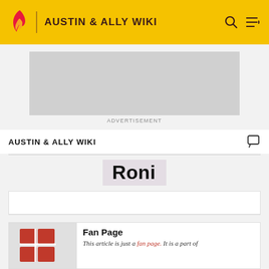AUSTIN & ALLY WIKI
[Figure (screenshot): Advertisement placeholder (grey rectangle)]
ADVERTISEMENT
AUSTIN & ALLY WIKI
Roni
[Figure (screenshot): Empty tab navigation bar]
[Figure (infographic): Fan page card with image and text. Image shows red tiles/grid design. Text reads: Fan Page. This article is just a fan page. It is a part of]
Fan Page
This article is just a fan page. It is a part of